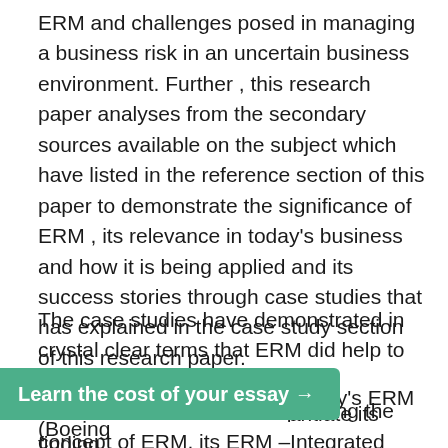ERM and challenges posed in managing a business risk in an uncertain business environment. Further , this research paper analyses from the secondary sources available on the subject which have listed in the reference section of this paper to demonstrate the significance of ERM , its relevance in today's business and how it is being applied and its success stories through case studies that has explained in the case study section of this research paper.
The case studies have demonstrated in crystal clear terms that ERM did help to prevent risk and increased the shareholders value. For explaining the concept of ERM, its ERM –Integrated Framework (2004) and COSO Internal Control Framework, the research paper heavily relied on COSO's website (http:// www.coso.org) for gathering [obscured] antiate its finding.
Learn the cost of your essay →
Further in analysing my company's ERM (Boeing...